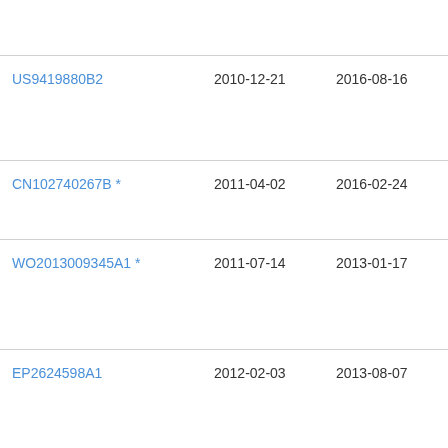| Patent | Filing Date | Publication Date | Assignee |
| --- | --- | --- | --- |
| (partial top row) |  |  | E W (truncated) |
| US9419880B2 | 2010-12-21 | 2016-08-16 | Kor (truncated) |
| CN102740267B * | 2011-04-02 | 2016-02-24 | □□□□ (truncated) |
| WO2013009345A1 * | 2011-07-14 | 2013-01-17 | Inte (truncated) |
| EP2624598A1 | 2012-02-03 | 2013-08-07 | Cin Mo (truncated) |
| US9641958B2 * | 2012-08-02 | 2017-05-02 | Op Ltd (truncated) |